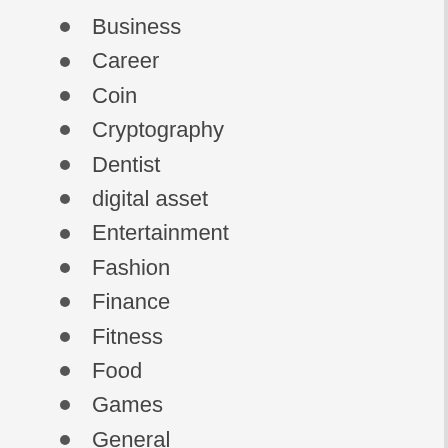Business
Career
Coin
Cryptography
Dentist
digital asset
Entertainment
Fashion
Finance
Fitness
Food
Games
General
Health
Home